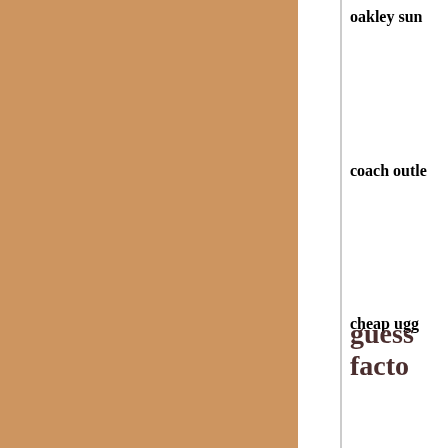[Figure (other): Large tan/caramel colored rectangular panel occupying the left portion of the page]
oakley sun
coach outle
cheap ugg
guess facto
true religio
mbt outlet